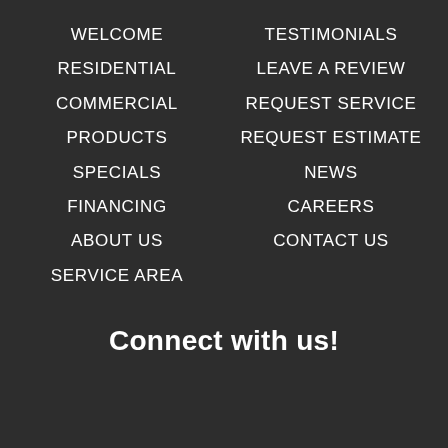WELCOME
TESTIMONIALS
RESIDENTIAL
LEAVE A REVIEW
COMMERCIAL
REQUEST SERVICE
PRODUCTS
REQUEST ESTIMATE
SPECIALS
NEWS
FINANCING
CAREERS
ABOUT US
CONTACT US
SERVICE AREA
Connect with us!